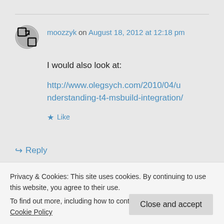moozzyk on August 18, 2012 at 12:18 pm
I would also look at:
http://www.olegsych.com/2010/04/understanding-t4-msbuild-integration/
Like
Reply
Privacy & Cookies: This site uses cookies. By continuing to use this website, you agree to their use.
To find out more, including how to control cookies, see here: Cookie Policy
Close and accept
http://www.olegsych.com/2010/04/u